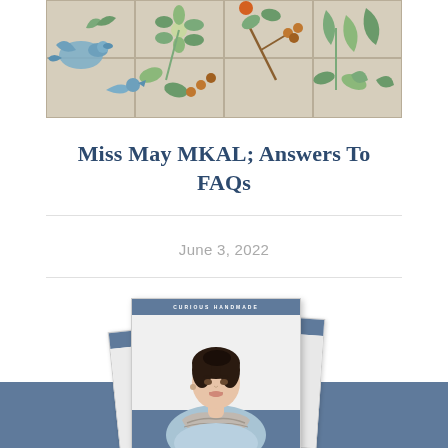[Figure (photo): Decorative floral and bird pattern tile artwork in muted blue, green, and orange tones, serving as a header banner image]
Miss May MKAL; Answers To FAQs
June 3, 2022
[Figure (photo): Stack of knitting pattern booklets from Curious Handmade brand, with a woman wearing a grey lace shawl on the cover, against a blue-grey background at the bottom]